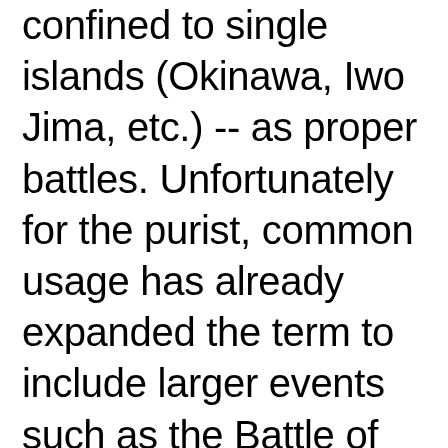confined to single islands (Okinawa, Iwo Jima, etc.) -- as proper battles. Unfortunately for the purist, common usage has already expanded the term to include larger events such as the Battle of Britain, the Battle of the Bulge and the Battle of the Atlantic, all of which would be called "campaigns" in